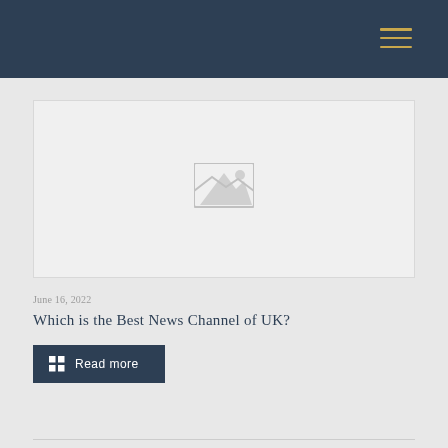[Figure (photo): Placeholder image with a broken/missing image icon in the center on a light gray background]
June 16, 2022
Which is the Best News Channel of UK?
Read more